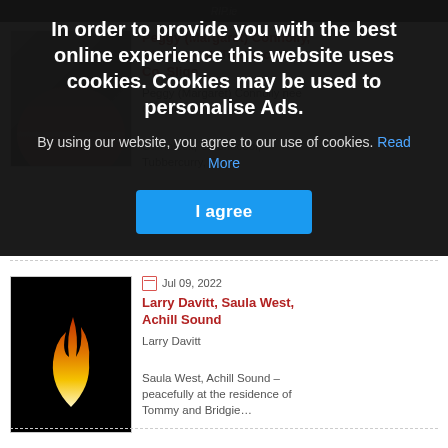In order to provide you with the best online experience this website uses cookies. Cookies may be used to personalise Ads.
By using our website, you agree to our use of cookies. Read More
I agree
Peggy (Margaret) Connolly, Cloonacool, Tubbercurry, Co. Sligo
Peggy (Margaret) Connolly nee O'Donnell
Carnaleck, Cloonacool, Tubbercurry, Co....
Jul 09, 2022
Larry Davitt, Saula West, Achill Sound
Larry Davitt
Saula West, Achill Sound – peacefully at the residence of Tommy and Bridgie…